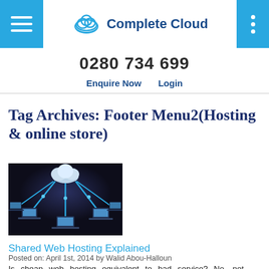Complete Cloud — 0280 734 699 — Enquire Now  Login
Tag Archives: Footer Menu2(Hosting & online store)
[Figure (photo): Cloud computing network illustration showing a white cloud connected by blue chains to multiple laptops on a dark background]
Shared Web Hosting Explained
Posted on: April 1st, 2014 by Walid Abou-Halloun
Is cheap web hosting equivalent to bad service? No, not necessarily. Despite the low price of Shared Web Hosting,